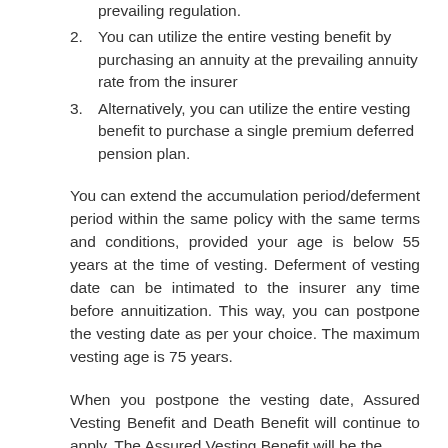prevailing regulation.
2. You can utilize the entire vesting benefit by purchasing an annuity at the prevailing annuity rate from the insurer
3. Alternatively, you can utilize the entire vesting benefit to purchase a single premium deferred pension plan.
You can extend the accumulation period/deferment period within the same policy with the same terms and conditions, provided your age is below 55 years at the time of vesting. Deferment of vesting date can be intimated to the insurer any time before annuitization. This way, you can postpone the vesting date as per your choice. The maximum vesting age is 75 years.
When you postpone the vesting date, Assured Vesting Benefit and Death Benefit will continue to apply. The Assured Vesting Benefit will be the